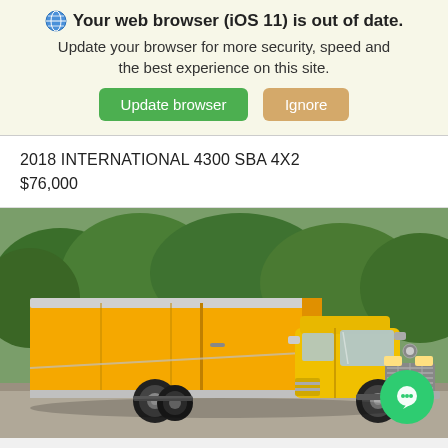Your web browser (iOS 11) is out of date. Update your browser for more security, speed and the best experience on this site.
2018 INTERNATIONAL 4300 SBA 4X2
$76,000
[Figure (photo): Yellow 2018 International 4300 SBA 4x2 box truck parked outdoors with trees in background]